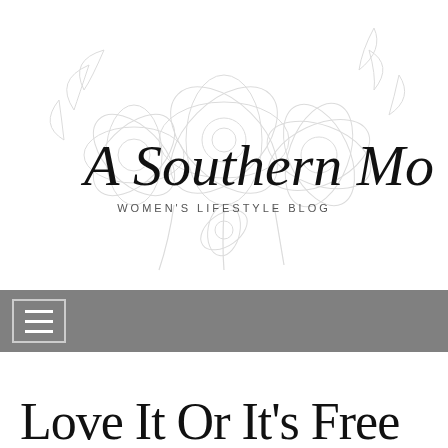[Figure (logo): A Southern Mother – Women's Lifestyle Blog logo with script lettering and floral illustration]
[Figure (other): Navigation bar with hamburger menu icon on grey background]
Love It Or It's Free